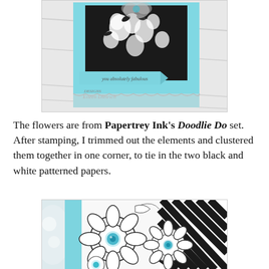[Figure (photo): Close-up photo of a handmade greeting card with black and white floral patterned paper on a teal/aqua background, with a banner ribbon and handwritten-style text reading 'you absolutely fabulous'. Designed by Eileen Dietrich.]
The flowers are from Papertrey Ink's Doodlie Do set. After stamping, I trimmed out the elements and clustered them together in one corner, to tie in the two black and white patterned papers.
[Figure (photo): Close-up photo of white doodle-style stamped flowers with blue sequin centers, clustered together on a teal card with black and white striped patterned paper in the background.]